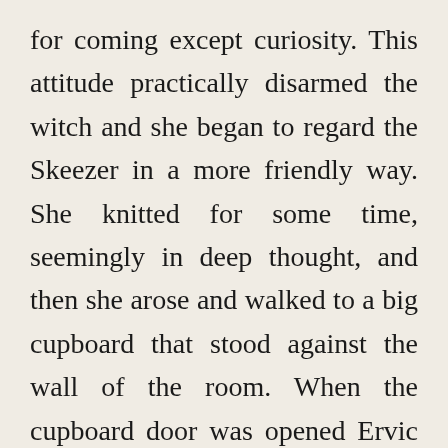for coming except curiosity. This attitude practically disarmed the witch and she began to regard the Skeezer in a more friendly way. She knitted for some time, seemingly in deep thought, and then she arose and walked to a big cupboard that stood against the wall of the room. When the cupboard door was opened Ervic could see a lot of drawers inside, and into one of these